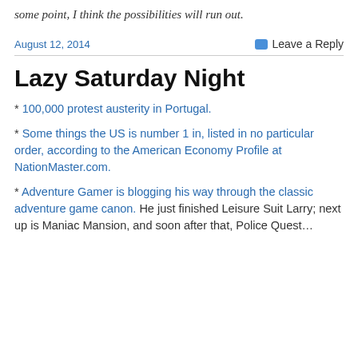some point, I think the possibilities will run out.
August 12, 2014
Leave a Reply
Lazy Saturday Night
* 100,000 protest austerity in Portugal.
* Some things the US is number 1 in, listed in no particular order, according to the American Economy Profile at NationMaster.com.
* Adventure Gamer is blogging his way through the classic adventure game canon. He just finished Leisure Suit Larry; next up is Maniac Mansion, and soon after that, Police Quest…